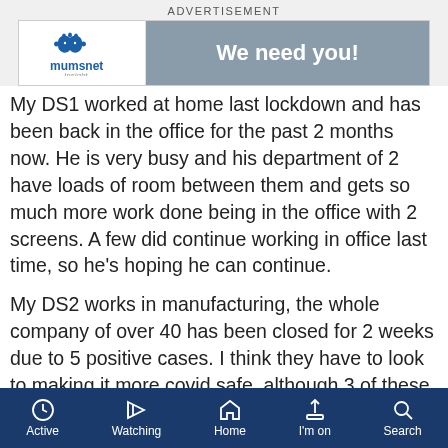[Figure (screenshot): Mumsnet Insight advertisement banner with logo on left and 'We need you!' text on grey background on right]
My DS1 worked at home last lockdown and has been back in the office for the past 2 months now. He is very busy and his department of 2 have loads of room between them and gets so much more work done being in the office with 2 screens. A few did continue working in office last time, so he's hoping he can continue.
My DS2 works in manufacturing, the whole company of over 40 has been closed for 2 weeks due to 5 positive cases. I think they have to look to making it more covid safe, although 3 of these socialised of an evening. He has only been back 4 weeks, after being furloughed since March.
Active  Watching  Home  I'm on  Search